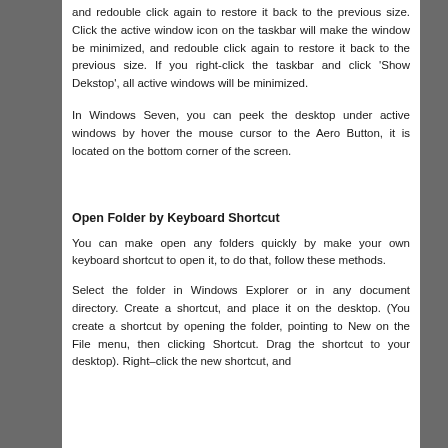and redouble click again to restore it back to the previous size. Click the active window icon on the taskbar will make the window be minimized, and redouble click again to restore it back to the previous size. If you right-click the taskbar and click 'Show Dekstop', all active windows will be minimized.
In Windows Seven, you can peek the desktop under active windows by hover the mouse cursor to the Aero Button, it is located on the bottom corner of the screen.
Open Folder by Keyboard Shortcut
You can make open any folders quickly by make your own keyboard shortcut to open it, to do that, follow these methods.
Select the folder in Windows Explorer or in any document directory. Create a shortcut, and place it on the desktop. (You create a shortcut by opening the folder, pointing to New on the File menu, then clicking Shortcut. Drag the shortcut to your desktop). Right–click the new shortcut, and